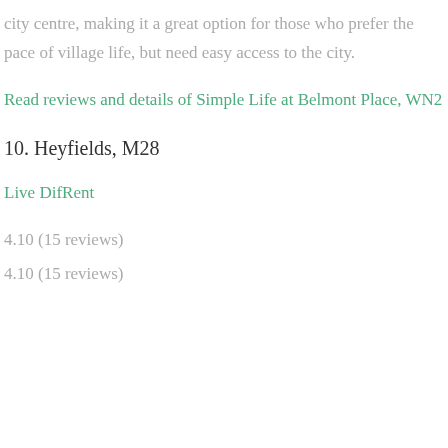city centre, making it a great option for those who prefer the pace of village life, but need easy access to the city.
Read reviews and details of Simple Life at Belmont Place, WN2
10. Heyfields, M28
Live DifRent
4.10 (15 reviews)
4.10 (15 reviews)